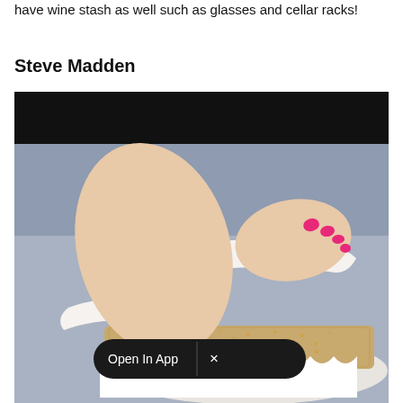have wine stash as well such as glasses and cellar racks!
Steve Madden
[Figure (photo): Close-up photo of a woman's foot wearing a white platform sandal with a glittery cork sole and white straps with a buckle. The toenails are painted bright pink. There is a black banner overlay at the top of the image. An 'Open In App' popup with an X close button is overlaid on the lower center of the image.]